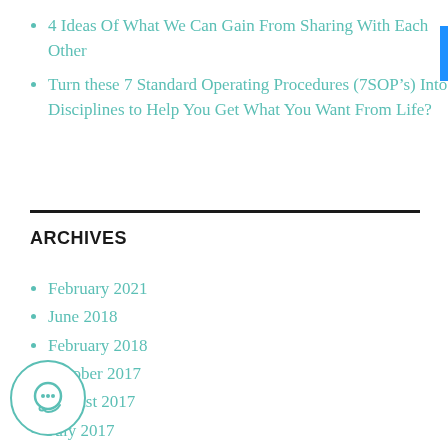4 Ideas Of What We Can Gain From Sharing With Each Other
Turn these 7 Standard Operating Procedures (7SOP’s) Into Disciplines to Help You Get What You Want From Life?
ARCHIVES
February 2021
June 2018
February 2018
October 2017
August 2017
July 2017